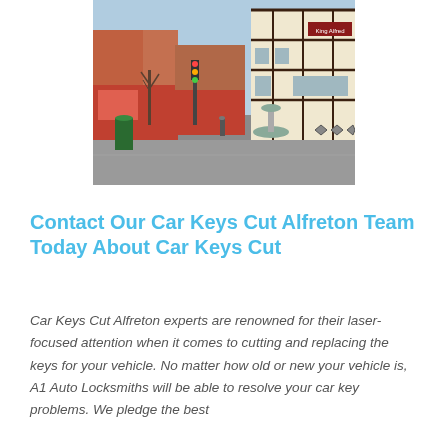[Figure (photo): A street scene in Alfreton town centre showing shops and a half-timbered building (King Alfred pub) with a fountain, bare trees and a clear blue sky.]
Contact Our Car Keys Cut Alfreton Team Today About Car Keys Cut
Car Keys Cut Alfreton experts are renowned for their laser-focused attention when it comes to cutting and replacing the keys for your vehicle. No matter how old or new your vehicle is, A1 Auto Locksmiths will be able to resolve your car key problems. We pledge the best